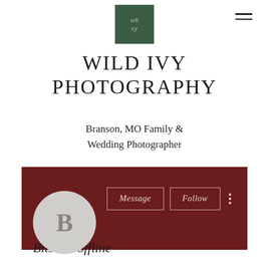[Figure (logo): Dark green square logo with cursive/script text initials]
WILD IVY PHOTOGRAPHY
Branson, MO Family & Wedding Photographer
[Figure (screenshot): Dark maroon/red banner background with Message and Follow buttons, a circular avatar with letter B, three-dot menu icon, and italic username 'Bitstarz offline']